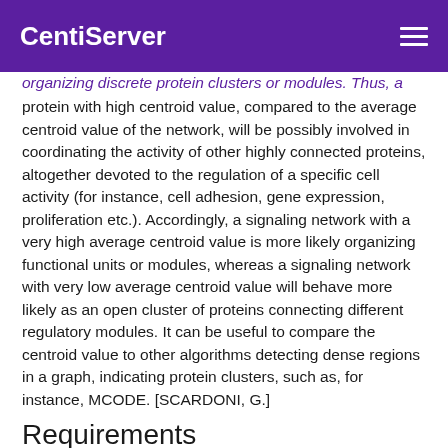CentiServer
organizing discrete protein clusters or modules. Thus, a protein with high centroid value, compared to the average centroid value of the network, will be possibly involved in coordinating the activity of other highly connected proteins, altogether devoted to the regulation of a specific cell activity (for instance, cell adhesion, gene expression, proliferation etc.). Accordingly, a signaling network with a very high average centroid value is more likely organizing functional units or modules, whereas a signaling network with very low average centroid value will behave more likely as an open cluster of proteins connecting different regulatory modules. It can be useful to compare the centroid value to other algorithms detecting dense regions in a graph, indicating protein clusters, such as, for instance, MCODE. [SCARDONI, G.]
Requirements
Require strongly connected network